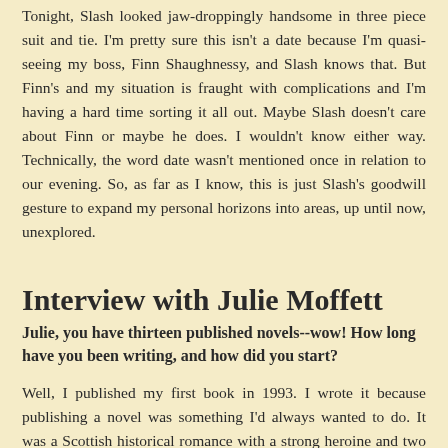Tonight, Slash looked jaw-droppingly handsome in three piece suit and tie. I'm pretty sure this isn't a date because I'm quasi-seeing my boss, Finn Shaughnessy, and Slash knows that. But Finn's and my situation is fraught with complications and I'm having a hard time sorting it all out. Maybe Slash doesn't care about Finn or maybe he does. I wouldn't know either way. Technically, the word date wasn't mentioned once in relation to our evening. So, as far as I know, this is just Slash's goodwill gesture to expand my personal horizons into areas, up until now, unexplored.
Interview with Julie Moffett
Julie, you have thirteen published novels--wow! How long have you been writing, and how did you start?
Well, I published my first book in 1993. I wrote it because publishing a novel was something I'd always wanted to do. It was a Scottish historical romance with a strong heroine and two leading men. It wasn't overly sexy, just an unusual romance featuring a woman who had to choose one man, even though she loved them both. Luckily, I was clueless